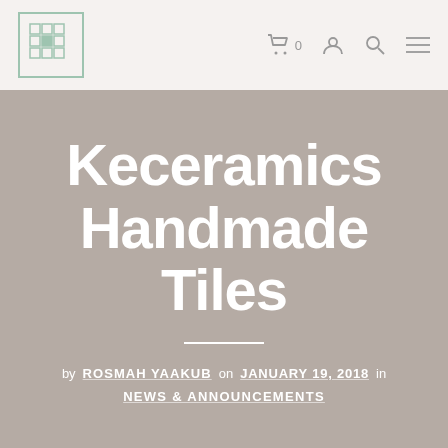[Figure (logo): Keceramics brand logo — square green border with grid-like tile pattern inside]
Navigation bar with cart icon (0), account icon, search icon, and menu icon
Keceramics Handmade Tiles
by ROSMAH YAAKUB on JANUARY 19, 2018 in
NEWS & ANNOUNCEMENTS